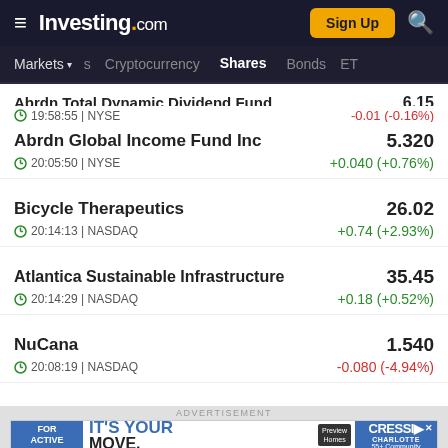Investing.com — Markets | Cryptocurrency | Shares | Bonds | ETF
Abrdn Total Dynamic Dividend Fund — 19:58:55 | NYSE — -0.01 (-0.16%)
Abrdn Global Income Fund Inc — 5.320 — 20:05:50 | NYSE — +0.040 (+0.76%)
Bicycle Therapeutics — 26.02 — 20:14:13 | NASDAQ — +0.74 (+2.93%)
Atlantica Sustainable Infrastructure — 35.45 — 20:14:29 | NASDAQ — +0.18 (+0.52%)
NuCana — 1.540 — 20:08:19 | NASDAQ — -0.080 (-4.94%)
[Figure (screenshot): CRESSWI Charlotte 55+ Community advertisement banner with New Homes for Active Adults tagline]